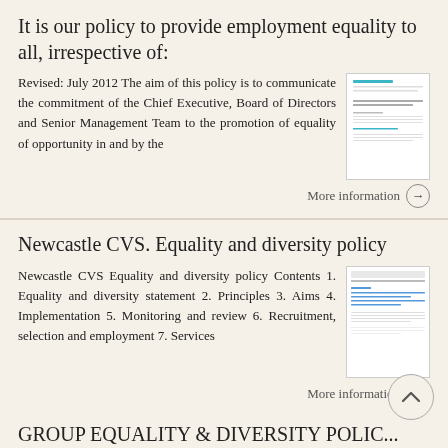It is our policy to provide employment equality to all, irrespective of:
Revised: July 2012 The aim of this policy is to communicate the commitment of the Chief Executive, Board of Directors and Senior Management Team to the promotion of equality of opportunity in and by the
[Figure (screenshot): Thumbnail image of a document page related to employment equality policy]
More information →
Newcastle CVS. Equality and diversity policy
Newcastle CVS Equality and diversity policy Contents 1. Equality and diversity statement 2. Principles 3. Aims 4. Implementation 5. Monitoring and review 6. Recruitment, selection and employment 7. Services
[Figure (screenshot): Thumbnail image of Newcastle CVS Equality and diversity policy document]
More information →
GROUP EQUALITY & DIVERSITY POLIC...